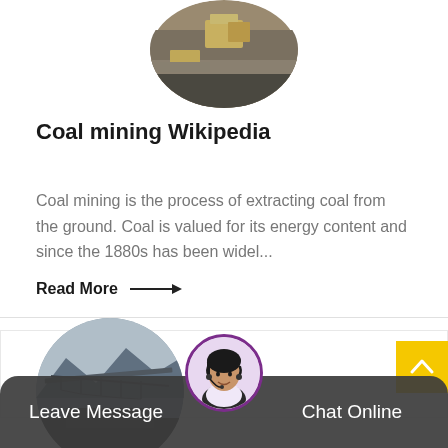[Figure (photo): Circular cropped photo of coal/industrial equipment in a warehouse setting, partially visible at the top of the card]
Coal mining Wikipedia
Coal mining is the process of extracting coal from the ground. Coal is valued for its energy content and since the 1880s has been widel...
Read More →
[Figure (photo): Circular cropped photo of a coal mining conveyor bridge/industrial structure, partially visible at bottom]
[Figure (photo): Chat support avatar - woman with headset in circular frame]
Leave Message
Chat Online